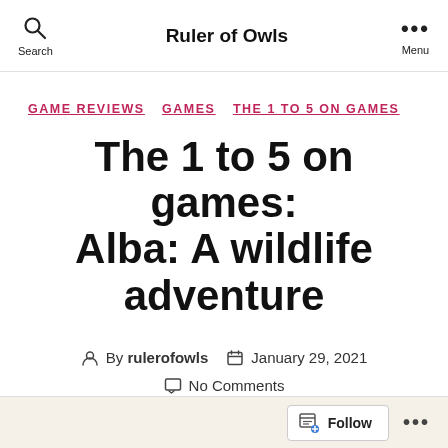Ruler of Owls
GAME REVIEWS  GAMES  THE 1 TO 5 ON GAMES
The 1 to 5 on games: Alba: A wildlife adventure
By rulerofowls  January 29, 2021  No Comments
Follow